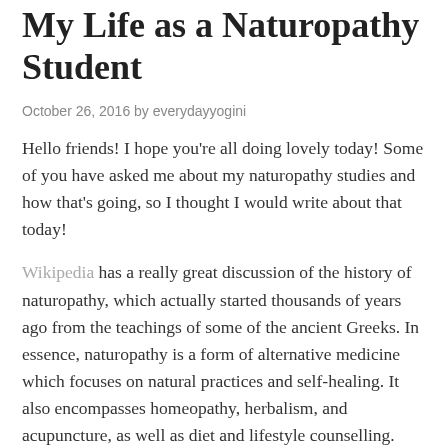My Life as a Naturopathy Student
October 26, 2016 by everydayyogini
Hello friends! I hope you're all doing lovely today! Some of you have asked me about my naturopathy studies and how that's going, so I thought I would write about that today!
Wikipedia has a really great discussion of the history of naturopathy, which actually started thousands of years ago from the teachings of some of the ancient Greeks. In essence, naturopathy is a form of alternative medicine which focuses on natural practices and self-healing. It also encompasses homeopathy, herbalism, and acupuncture, as well as diet and lifestyle counselling.
I decided to study naturopathy and become a naturopath